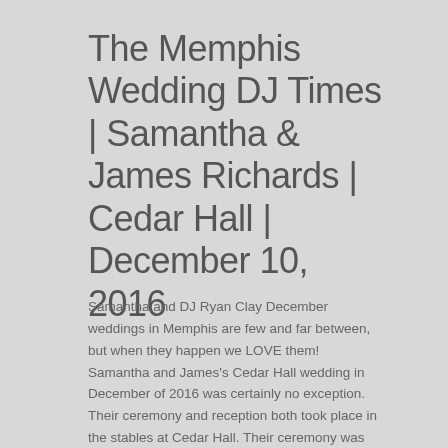The Memphis Wedding DJ Times | Samantha & James Richards | Cedar Hall | December 10, 2016
Samantha and DJ Ryan Clay December weddings in Memphis are few and far between, but when they happen we LOVE them! Samantha and James's Cedar Hall wedding in December of 2016 was certainly no exception. Their ceremony and reception both took place in the stables at Cedar Hall. Their ceremony was officiated by none other than Mayor Jim Strickland